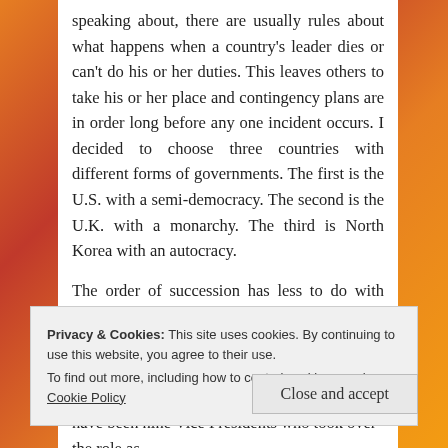speaking about, there are usually rules about what happens when a country's leader dies or can't do his or her duties. This leaves others to take his or her place and contingency plans are in order long before any one incident occurs. I decided to choose three countries with different forms of governments. The first is the U.S. with a semi-democracy. The second is the U.K. with a monarchy. The third is North Korea with an autocracy.
The order of succession has less to do with familial ties and more to do with title in the U.S. After the President
Privacy & Cookies: This site uses cookies. By continuing to use this website, you agree to their use.
To find out more, including how to control cookies, see here: Cookie Policy
Close and accept
have been nine Vice Presidents who took over the role as